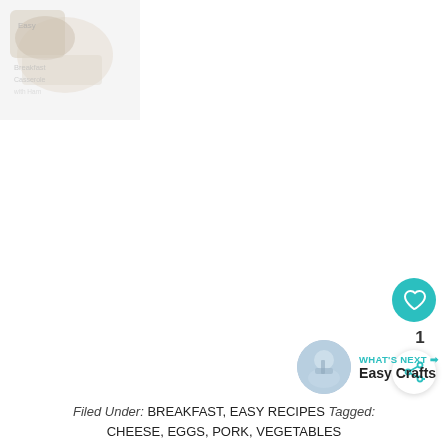[Figure (photo): Faded/partially visible food photo in upper-left corner of page]
[Figure (infographic): Teal circular heart icon button (like/favorite button) on right side]
1
[Figure (infographic): White circular share icon button with shadow on right side]
[Figure (infographic): What's Next section with circular thumbnail and text: WHAT'S NEXT → Easy Crafts]
Filed Under: BREAKFAST, EASY RECIPES Tagged: CHEESE, EGGS, PORK, VEGETABLES